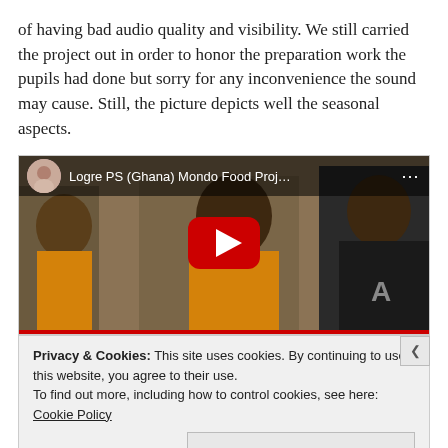of having bad audio quality and visibility. We still carried the project out in order to honor the preparation work the pupils had done but sorry for any inconvenience the sound may cause. Still, the picture depicts well the seasonal aspects.
[Figure (screenshot): YouTube video embed showing 'Logre PS (Ghana) Mondo Food Proj...' with a thumbnail of school children, a red play button overlay, and a cookie consent bar at the bottom with a 'Close and accept' button.]